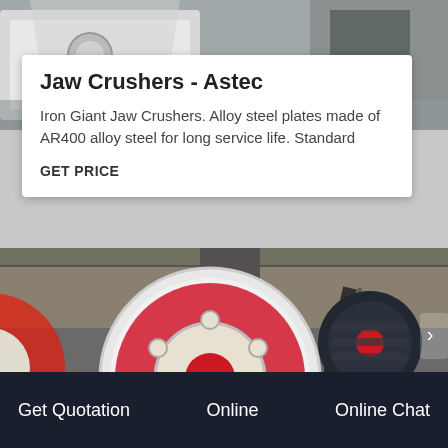[Figure (photo): Top portion of a jaw crusher machine, white metal structure, industrial setting]
Jaw Crushers - Astec
Iron Giant Jaw Crushers. Alloy steel plates made of AR400 alloy steel for long service life. Standard
GET PRICE
[Figure (photo): Close-up of jaw crusher flywheel and belt drive assembly with electric motor, red and white machinery in industrial warehouse]
Online
Get Quotation
Online Chat